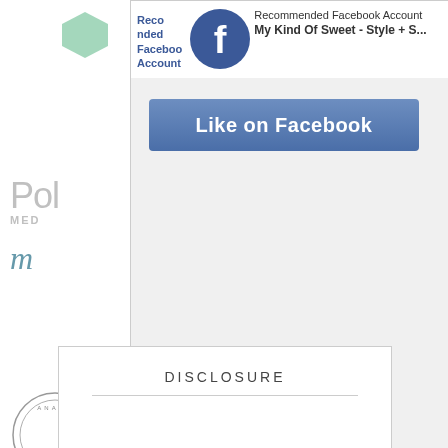[Figure (screenshot): A Facebook 'Recommended Account' popup modal overlay on a webpage. The popup shows a Facebook icon, 'Recommended Facebook Account' text, 'My Kind Of Sweet - Style + S...' page name, a 'Like on Facebook' button, and a 'Powered by MiloTree' footer with 'X CLOSE' button. Behind the modal, partial sidebar logos are visible including 'Pol' text, 'MED' text, an italic 'm' logo, and a circular stamp design.]
Recommended Facebook Account
My Kind Of Sweet - Style + S...
Like on Facebook
Powered by MiloTree
X CLOSE
DISCLOSURE